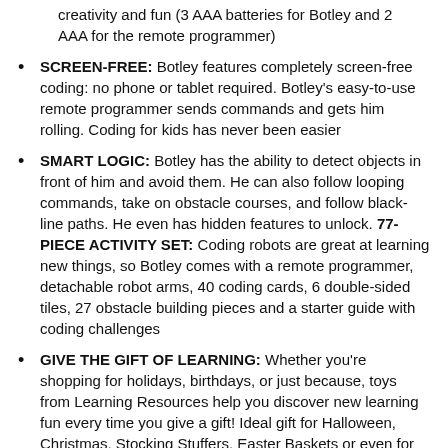creativity and fun (3 AAA batteries for Botley and 2 AAA for the remote programmer)
SCREEN-FREE: Botley features completely screen-free coding: no phone or tablet required. Botley's easy-to-use remote programmer sends commands and gets him rolling. Coding for kids has never been easier
SMART LOGIC: Botley has the ability to detect objects in front of him and avoid them. He can also follow looping commands, take on obstacle courses, and follow black-line paths. He even has hidden features to unlock. 77-PIECE ACTIVITY SET: Coding robots are great at learning new things, so Botley comes with a remote programmer, detachable robot arms, 40 coding cards, 6 double-sided tiles, 27 obstacle building pieces and a starter guide with coding challenges
GIVE THE GIFT OF LEARNING: Whether you're shopping for holidays, birthdays, or just because, toys from Learning Resources help you discover new learning fun every time you give a gift! Ideal gift for Halloween, Christmas, Stocking Stuffers, Easter Baskets or even for Homeschool.
$49.37 Prime
Buy on Amazon